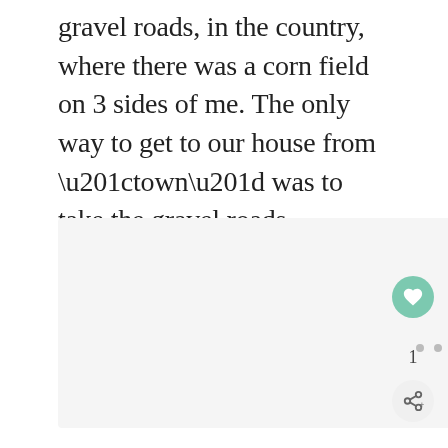gravel roads, in the country, where there was a corn field on 3 sides of me. The only way to get to our house from “town” was to take the gravel roads.
[Figure (photo): A light grey placeholder image area, partially visible at bottom of page]